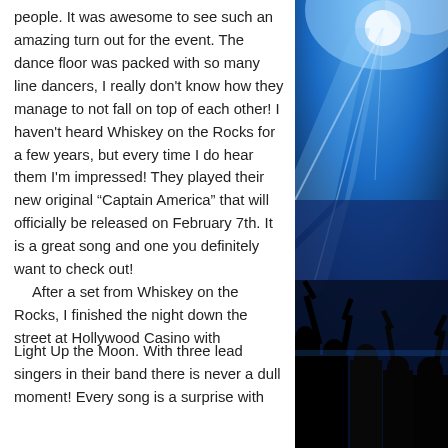people. It was awesome to see such an amazing turn out for the event. The dance floor was packed with so many line dancers, I really don't know how they manage to not fall on top of each other! I haven't heard Whiskey on the Rocks for a few years, but every time I do hear them I'm impressed! They played their new original "Captain America" that will officially be released on February 7th. It is a great song and one you definitely want to check out!
   After a set from Whiskey on the Rocks, I finished the night down the street at Hollywood Casino with
[Figure (photo): Concert photo showing blue stage lighting with spotlight beams and silhouettes of audience members with raised arms in the foreground]
Light Up the Moon. With three lead singers in their band there is never a dull moment! Every song is a surprise with